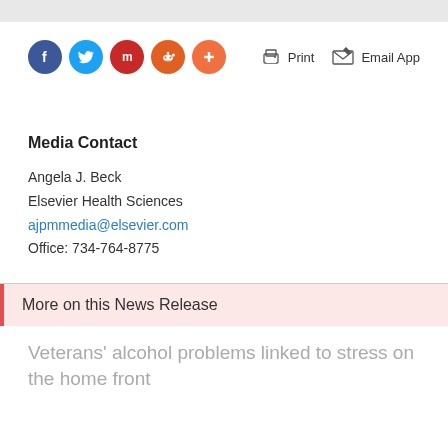[Figure (other): Social sharing buttons (Facebook, Twitter, Mix, Reddit, Plus) and Print/Email App action icons]
Media Contact
Angela J. Beck
Elsevier Health Sciences
ajpmmedia@elsevier.com
Office: 734-764-8775
More on this News Release
Veterans' alcohol problems linked to stress on the home front